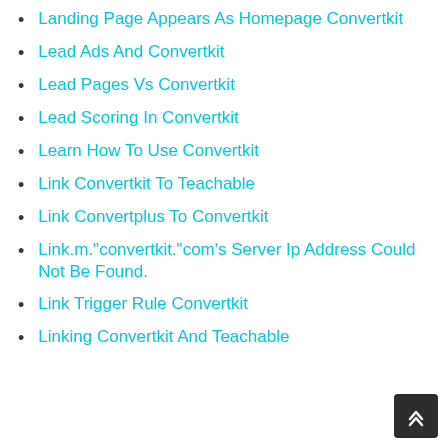Landing Page Appears As Homepage Convertkit
Lead Ads And Convertkit
Lead Pages Vs Convertkit
Lead Scoring In Convertkit
Learn How To Use Convertkit
Link Convertkit To Teachable
Link Convertplus To Convertkit
Link.m."convertkit."com's Server Ip Address Could Not Be Found.
Link Trigger Rule Convertkit
Linking Convertkit And Teachable